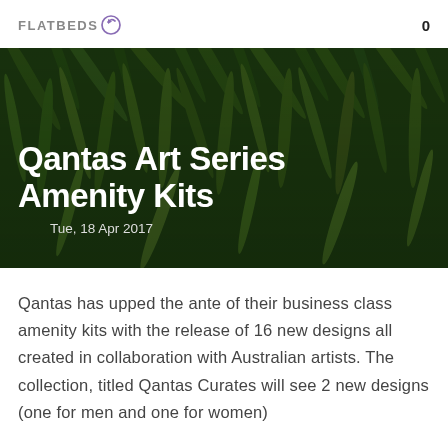FLATBEDS  0
[Figure (photo): Close-up photo of dense green fern foliage used as hero image background]
Qantas Art Series Amenity Kits
Tue, 18 Apr 2017
Qantas has upped the ante of their business class amenity kits with the release of 16 new designs all created in collaboration with Australian artists. The collection, titled Qantas Curates will see 2 new designs (one for men and one for women)